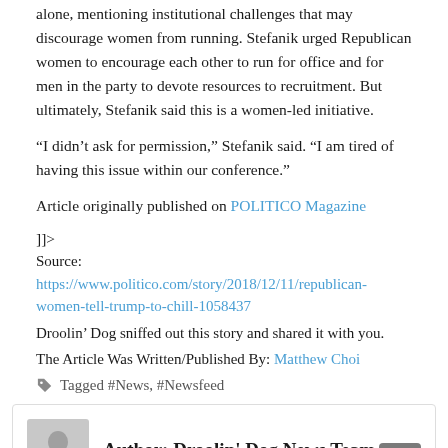alone, mentioning institutional challenges that may discourage women from running. Stefanik urged Republican women to encourage each other to run for office and for men in the party to devote resources to recruitment. But ultimately, Stefanik said this is a women-led initiative.
“I didn’t ask for permission,” Stefanik said. “I am tired of having this issue within our conference.”
Article originally published on POLITICO Magazine
]]>
Source: https://www.politico.com/story/2018/12/11/republican-women-tell-trump-to-chill-1058437
Droolin’ Dog sniffed out this story and shared it with you.
The Article Was Written/Published By: Matthew Choi
Tagged #News, #Newsfeed
Author: Droolin' Dog News Team